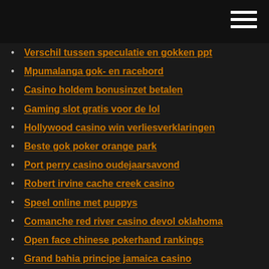Verschil tussen speculatie en gokken ppt
Mpumalanga gok- en racebord
Casino holdem bonusinzet betalen
Gaming slot gratis voor de lol
Hollywood casino win verliesverklaringen
Beste gok poker orange park
Port perry casino oudejaarsavond
Robert irvine cache creek casino
Speel online met puppys
Comanche red river casino devol oklahoma
Open face chinese pokerhand rankings
Grand bahia principe jamaica casino
Online casino india legaal
Palmen crown casino melbourne kaart